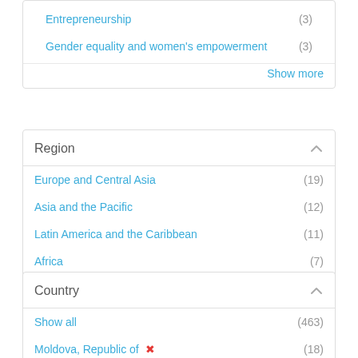Entrepreneurship (3)
Gender equality and women's empowerment (3)
Show more
Region
Europe and Central Asia (19)
Asia and the Pacific (12)
Latin America and the Caribbean (11)
Africa (7)
Arab States/North Africa (7)
OECD DAC Donors and Other Countries (4)
Country
Show all (463)
Moldova, Republic of ✕ (18)